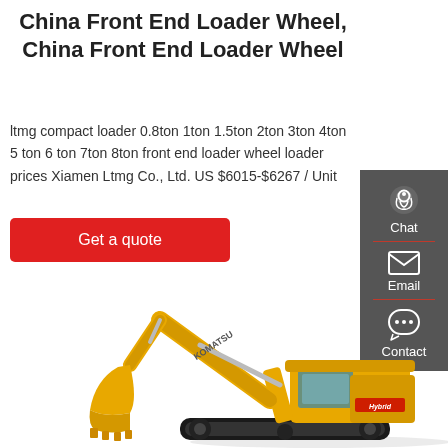China Front End Loader Wheel, China Front End Loader Wheel
ltmg compact loader 0.8ton 1ton 1.5ton 2ton 3ton 4ton 5 ton 6 ton 7ton 8ton front end loader wheel loader prices Xiamen Ltmg Co., Ltd. US $6015-$6267 / Unit
Get a quote
[Figure (illustration): Komatsu Hybrid excavator (yellow) on white background, with boom and arm extended, tracked undercarriage, operator cab visible on right]
[Figure (infographic): Dark grey sidebar with three contact icons: Chat (headset icon), Email (envelope icon), Contact (speech bubble with dots icon), separated by red dividers]